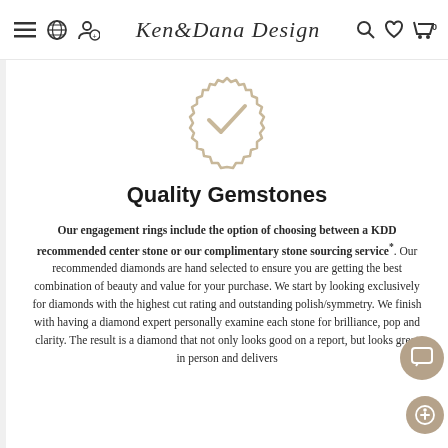Ken & Dana Design — navigation header
[Figure (illustration): Circular badge/seal icon with checkmark, tan/gold outline color]
Quality Gemstones
Our engagement rings include the option of choosing between a KDD recommended center stone or our complimentary stone sourcing service*. Our recommended diamonds are hand selected to ensure you are getting the best combination of beauty and value for your purchase. We start by looking exclusively for diamonds with the highest cut rating and outstanding polish/symmetry. We finish with having a diamond expert personally examine each stone for brilliance, pop and clarity. The result is a diamond that not only looks good on a report, but looks great in person and delivers